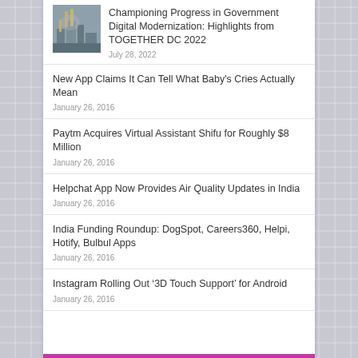[Figure (photo): Thumbnail photo of a construction or government building site]
Championing Progress in Government Digital Modernization: Highlights from TOGETHER DC 2022
July 28, 2022
New App Claims It Can Tell What Baby's Cries Actually Mean
January 26, 2016
Paytm Acquires Virtual Assistant Shifu for Roughly $8 Million
January 26, 2016
Helpchat App Now Provides Air Quality Updates in India
January 26, 2016
India Funding Roundup: DogSpot, Careers360, Helpi, Hotify, Bulbul Apps
January 26, 2016
Instagram Rolling Out ‘ 3D Touch Support’ for Android
January 26, 2016